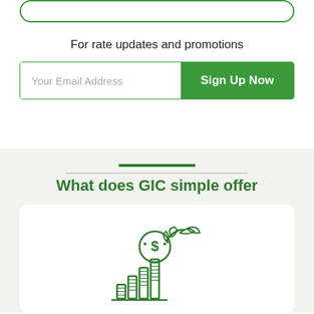For rate updates and promotions
[Figure (screenshot): Email signup form with 'Your Email Address' placeholder text input field and green 'Sign Up Now' button]
What does GIC simple offer
[Figure (illustration): Green line icon of a coin with dollar sign and a plant growing from a bar chart, representing financial growth]